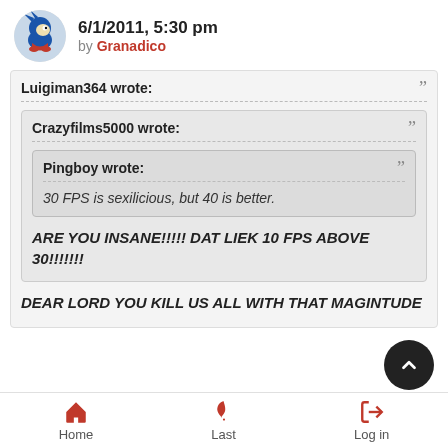6/1/2011, 5:30 pm by Granadico
Luigiman364 wrote:
Crazyfilms5000 wrote:
Pingboy wrote:
30 FPS is sexilicious, but 40 is better.
ARE YOU INSANE!!!!! DAT LIEK 10 FPS ABOVE 30!!!!!!!
DEAR LORD YOU KILL US ALL WITH THAT MAGINTUDE
Home   Last   Log in